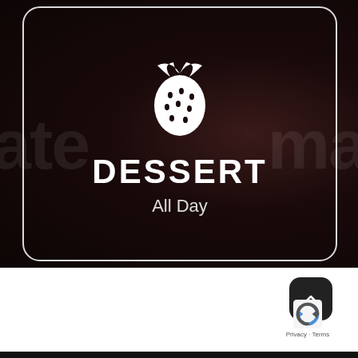[Figure (illustration): Dark restaurant/food background with a white strawberry icon inside a rounded rectangle card border. Text 'DESSERT' in bold white letters and 'All Day' below it.]
DESSERT
All Day
[Figure (screenshot): White section below the dark food photo with a dark scroll-to-top button (chevron up) and a reCAPTCHA badge with Privacy and Terms links.]